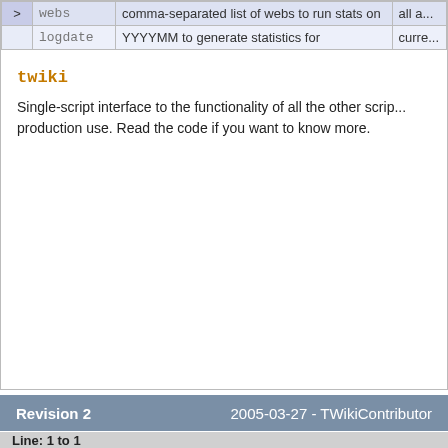|  | Parameter | Description | Default |
| --- | --- | --- | --- |
| > | webs | comma-separated list of webs to run stats on | all a... |
|  | logdate | YYYYMM to generate statistics for | curre... |
twiki
Single-script interface to the functionality of all the other scripts. Recommended for production use. Read the code if you want to know more.
Revision 2    2005-03-27 - TWikiContributor
Line: 1 to 1
On this page:
↓ CGI Scripts
↓ General Information
↓ CGI environment
↓ Command-line
↓ Common parameters
↓ attach
↓ changes